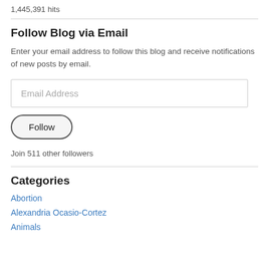1,445,391 hits
Follow Blog via Email
Enter your email address to follow this blog and receive notifications of new posts by email.
Email Address
Follow
Join 511 other followers
Categories
Abortion
Alexandria Ocasio-Cortez
Animals